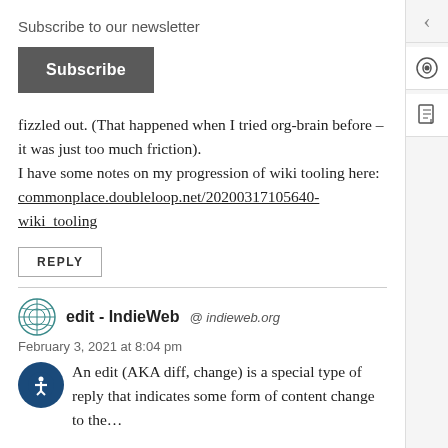Subscribe to our newsletter
Subscribe
fizzled out. (That happened when I tried org-brain before – it was just too much friction).
I have some notes on my progression of wiki tooling here: commonplace.doubleloop.net/20200317105640-wiki_tooling
REPLY
edit - IndieWeb @ indieweb.org
February 3, 2021 at 8:04 pm
An edit (AKA diff, change) is a special type of reply that indicates some form of content change to the...